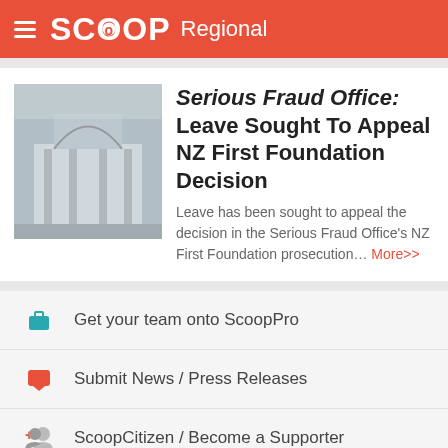SCOOP Regional
Serious Fraud Office: Leave Sought To Appeal NZ First Foundation Decision
Leave has been sought to appeal the decision in the Serious Fraud Office’s NZ First Foundation prosecution… More>>
Get your team onto ScoopPro
Submit News / Press Releases
ScoopCitizen / Become a Supporter
Using Scoop at work? You need an Ethical